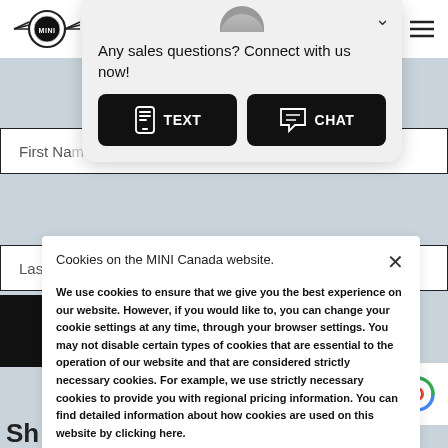[Figure (logo): MINI car brand logo with wings]
First Na
Last Nam
[Figure (screenshot): Sales chat popup with TEXT and CHAT buttons. Title: Any sales questions? Connect with us now!]
CONTINUE →
Cookies on the MINI Canada website.
We use cookies to ensure that we give you the best experience on our website. However, if you would like to, you can change your cookie settings at any time, through your browser settings. You may not disable certain types of cookies that are essential to the operation of our website and that are considered strictly necessary cookies. For example, we use strictly necessary cookies to provide you with regional pricing information. You can find detailed information about how cookies are used on this website by clicking here.